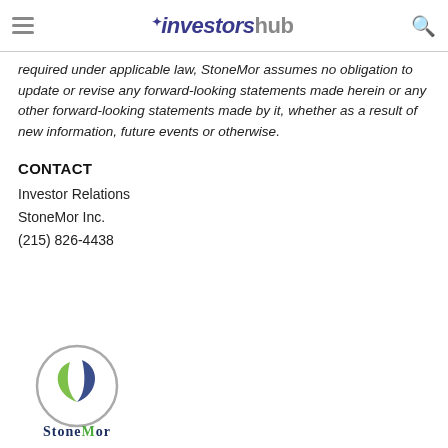investorshub
required under applicable law, StoneMor assumes no obligation to update or revise any forward-looking statements made herein or any other forward-looking statements made by it, whether as a result of new information, future events or otherwise.
CONTACT
Investor Relations
StoneMor Inc.
(215) 826-4438
[Figure (logo): StoneMor Inc. company logo: circular emblem with green and dark blue leaf design, with 'StoneMor' wordmark below in dark navy and green letters]